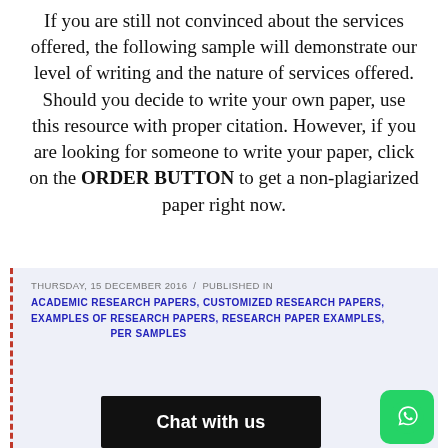If you are still not convinced about the services offered, the following sample will demonstrate our level of writing and the nature of services offered. Should you decide to write your own paper, use this resource with proper citation. However, if you are looking for someone to write your paper, click on the ORDER BUTTON to get a non-plagiarized paper right now.
THURSDAY, 15 DECEMBER 2016 / PUBLISHED IN ACADEMIC RESEARCH PAPERS, CUSTOMIZED RESEARCH PAPERS, EXAMPLES OF RESEARCH PAPERS, RESEARCH PAPER EXAMPLES, [RESEARCH PAPER SAMPLES]